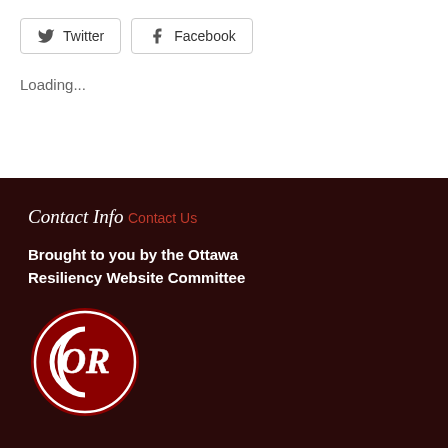[Figure (other): Twitter and Facebook social share buttons with icons]
Loading...
Contact Info
Contact Us
Brought to you by the Ottawa Resiliency Website Committee
[Figure (logo): Ottawa Resiliency circular logo with OR initials in white on dark red background]